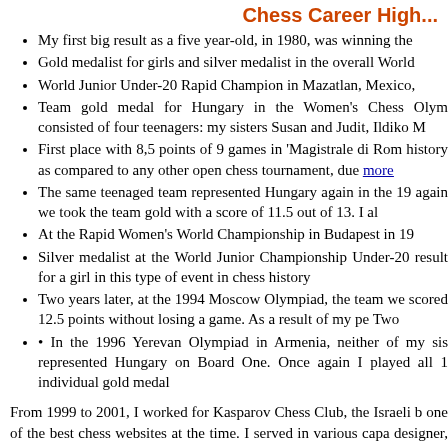Chess Career High...
My first big result as a five year-old, in 1980, was winning the
Gold medalist for girls and silver medalist in the overall World
World Junior Under-20 Rapid Champion in Mazatlan, Mexico,
Team gold medal for Hungary in the Women's Chess Olym consisted of four teenagers: my sisters Susan and Judit, Ildiko M
First place with 8,5 points of 9 games in 'Magistrale di Ron history as compared to any other open chess tournament, due more
The same teenaged team represented Hungary again in the 19 again we took the team gold with a score of 11.5 out of 13. I al
At the Rapid Women's World Championship in Budapest in 19
Silver medalist at the World Junior Championship Under-20 result for a girl in this type of event in chess history
Two years later, at the 1994 Moscow Olympiad, the team we scored 12.5 points without losing a game. As a result of my pe Two
• In the 1996 Yerevan Olympiad in Armenia, neither of my sis represented Hungary on Board One. Once again I played all 1 individual gold medal
From 1999 to 2001, I worked for Kasparov Chess Club, the Israeli b one of the best chess websites at the time. I served in various capa designer, private instructor, and chess community builder on the w